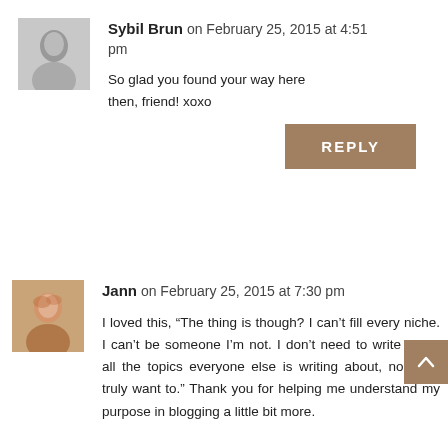[Figure (photo): Small avatar photo of Sybil Brun, black and white portrait]
Sybil Brun on February 25, 2015 at 4:51 pm
So glad you found your way here then, friend! xoxo
REPLY
[Figure (photo): Small avatar photo of Jann, color portrait]
Jann on February 25, 2015 at 7:30 pm
I loved this, “The thing is though? I can’t fill every niche. I can’t be someone I’m not. I don’t need to write about all the topics everyone else is writing about, nor do I truly want to.” Thank you for helping me understand my purpose in blogging a little bit more.